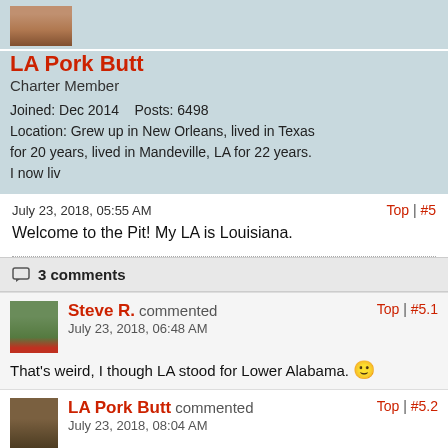[Figure (photo): User profile photo thumbnail of LA Pork Butt]
LA Pork Butt
Charter Member
Joined: Dec 2014    Posts: 6498
Location: Grew up in New Orleans, lived in Texas for 20 years, lived in Mandeville, LA for 22 years. I now liv
July 23, 2018, 05:55 AM
Top | #5
Welcome to the Pit! My LA is Louisiana.
3 comments
Steve R. commented
July 23, 2018, 06:48 AM
Top | #5.1
That's weird, I though LA stood for Lower Alabama. 🙂
LA Pork Butt commented
July 23, 2018, 08:04 AM
Top | #5.2
@Steve R. Funny!
richorn commented
Top | #5.3